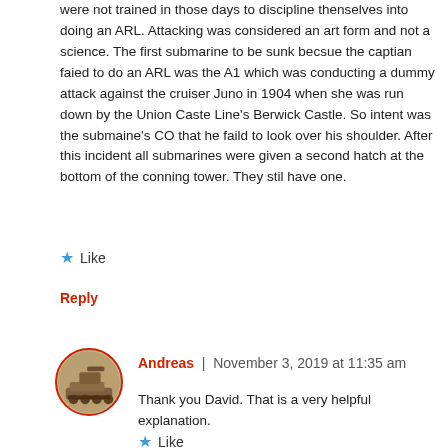were not trained in those days to discipline thenselves into doing an ARL. Attacking was considered an art form and not a science. The first submarine to be sunk becsue the captian faied to do an ARL was the A1 which was conducting a dummy attack against the cruiser Juno in 1904 when she was run down by the Union Caste Line's Berwick Castle. So intent was the submaine's CO that he faild to look over his shoulder. After this incident all submarines were given a second hatch at the bottom of the conning tower. They stil have one.
★ Like
Reply
[Figure (photo): Circular avatar photo with red border showing a military tank in a desert setting]
Andreas | November 3, 2019 at 11:35 am
Thank you David. That is a very helpful explanation.
★ Like